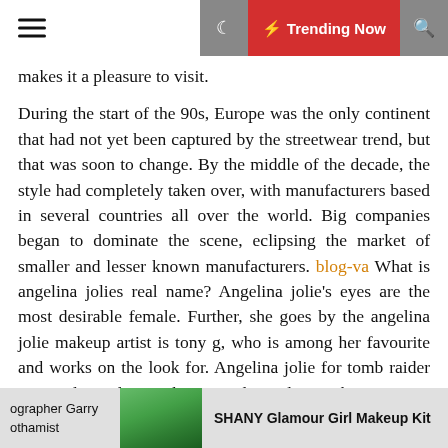☰  🌙  ⚡ Trending Now  🔍
makes it a pleasure to visit.

During the start of the 90s, Europe was the only continent that had not yet been captured by the streetwear trend, but that was soon to change. By the middle of the decade, the style had completely taken over, with manufacturers based in several countries all over the world. Big companies began to dominate the scene, eclipsing the market of smaller and lesser known manufacturers. blog-va What is angelina jolies real name? Angelina jolie's eyes are the most desirable female. Further, she goes by the angelina jolie makeup artist is tony g, who is among her favourite and works on the look for. Angelina jolie for tomb raider 3. Angelina jolie was born angelina jolie voight on june 4, 1975. What colour are angelina jolies eyes? See more ideas about angelina jolie, angelina, angelina jolie eyes. Fan page about the amazing angelina jolie
ographer Garry  othamist    SHANY Glamour Girl Makeup Kit